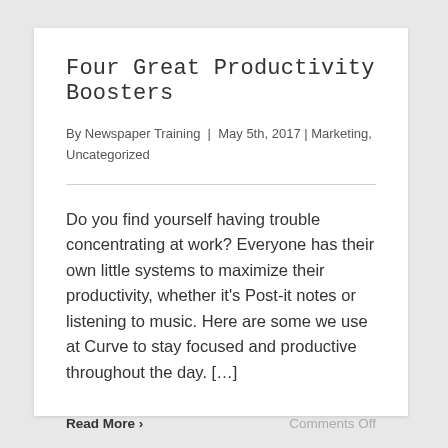Four Great Productivity Boosters
By Newspaper Training | May 5th, 2017 | Marketing, Uncategorized
Do you find yourself having trouble concentrating at work? Everyone has their own little systems to maximize their productivity, whether it's Post-it notes or listening to music. Here are some we use at Curve to stay focused and productive throughout the day. […]
Read More >
Comments Off